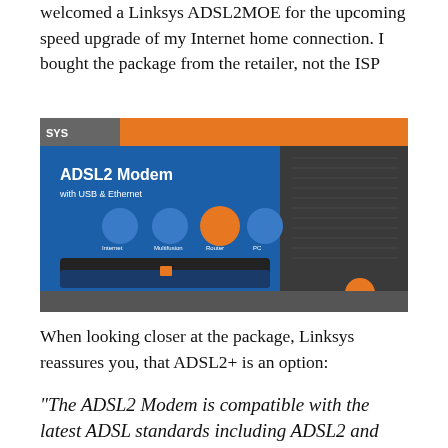welcomed a Linksys ADSL2MOE for the upcoming speed upgrade of my Internet home connection. I bought the package from the retailer, not the ISP
[Figure (photo): Photo of a Linksys ADSL2 Modem product box with USB & Ethernet, showing the modem device and connection diagram on blue packaging with orange top strip and WIRED badge at bottom right.]
When looking closer at the package, Linksys reassures you, that ADSL2+ is an option:
"The ADSL2 Modem is compatible with the latest ADSL standards including ADSL2 and